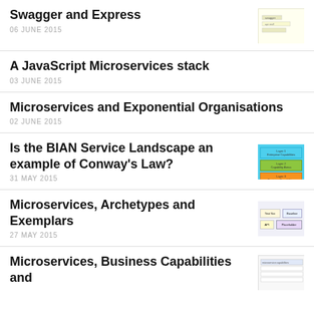Swagger and Express
06 JUNE 2015
A JavaScript Microservices stack
03 JUNE 2015
Microservices and Exponential Organisations
02 JUNE 2015
Is the BIAN Service Landscape an example of Conway's Law?
31 MAY 2015
Microservices, Archetypes and Exemplars
27 MAY 2015
Microservices, Business Capabilities and